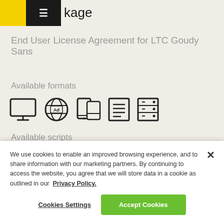kage
End User License Agreement for LTC Goudy Sans
Available formats
[Figure (illustration): Five format icons: desktop monitor, web/ad globe, mobile/tablet device, document list, and server/database stack]
Available scripts
Supports 0 different languages such as in scripts. (Please
We use cookies to enable an improved browsing experience, and to share information with our marketing partners. By continuing to access the website, you agree that we will store data in a cookie as outlined in our Privacy Policy.
Cookies Settings
Accept Cookies